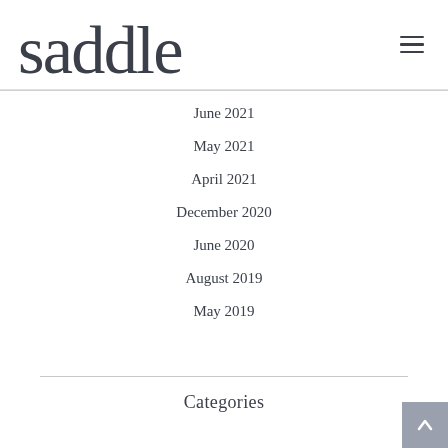saddle
June 2021
May 2021
April 2021
December 2020
June 2020
August 2019
May 2019
Categories